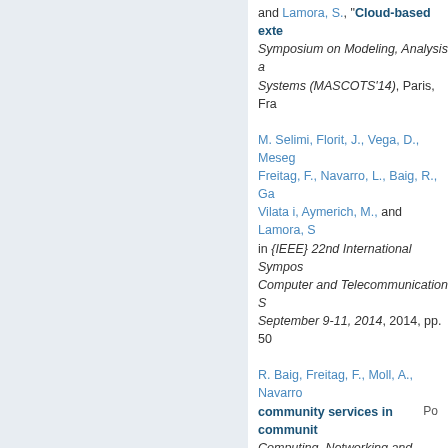and Lamora, S., "Cloud-based exte... Symposium on Modeling, Analysis a... Systems (MASCOTS'14), Paris, Fra...
M. Selimi, Florit, J., Vega, D., Meseg... Freitag, F., Navarro, L., Baig, R., Ga... Vilata i, Aymerich, M., and Lamora, S... in {IEEE} 22nd International Sympos... Computer and Telecommunication S... September 9-11, 2014, 2014, pp. 50...
R. Baig, Freitag, F., Moll, A., Navarro... community services in communit... Computing, Networking and Commu... 15-18, 2016, 2016, pp. 1–5.
« firs...
Po...